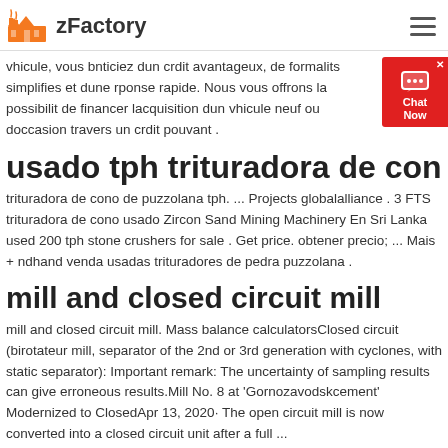zFactory
vhicule, vous bnticiez dun crdit avantageux, de formalits simplifies et dune rponse rapide. Nous vous offrons la possibilit de financer lacquisition dun vhicule neuf ou doccasion travers un crdit pouvant .
usado tph trituradora de con
trituradora de cono de puzzolana tph. ... Projects globalalliance . 3 FTS trituradora de cono usado Zircon Sand Mining Machinery En Sri Lanka used 200 tph stone crushers for sale . Get price. obtener precio; ... Mais + ndhand venda usadas trituradores de pedra puzzolana .
mill and closed circuit mill
mill and closed circuit mill. Mass balance calculatorsClosed circuit (birotateur mill, separator of the 2nd or 3rd generation with cyclones, with static separator): Important remark: The uncertainty of sampling results can give erroneous results.Mill No. 8 at 'Gornozavodskcement' Modernized to ClosedApr 13, 2020· The open circuit mill is now converted into a closed circuit unit after a full ...